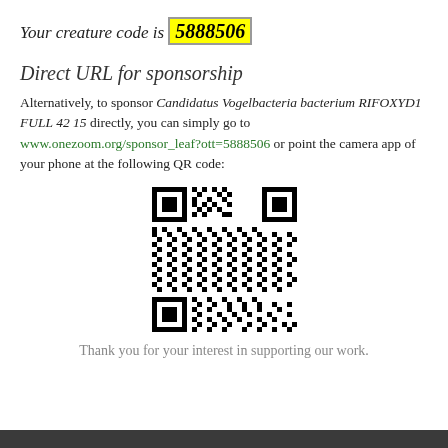Your creature code is 5888506
Direct URL for sponsorship
Alternatively, to sponsor Candidatus Vogelbacteria bacterium RIFOXYD1 FULL 42 15 directly, you can simply go to www.onezoom.org/sponsor_leaf?ott=5888506 or point the camera app of your phone at the following QR code:
[Figure (other): QR code linking to www.onezoom.org/sponsor_leaf?ott=5888506]
Thank you for your interest in supporting our work.